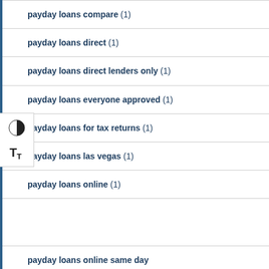payday loans compare (1)
payday loans direct (1)
payday loans direct lenders only (1)
payday loans everyone approved (1)
payday loans for tax returns (1)
payday loans las vegas (1)
payday loans online (1)
payday loans online same day (?)